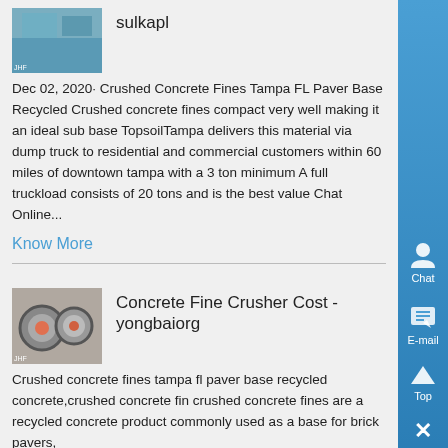[Figure (photo): Thumbnail image related to sulkapl topic]
sulkapl
Dec 02, 2020· Crushed Concrete Fines Tampa FL Paver Base Recycled Crushed concrete fines compact very well making it an ideal sub base TopsoilTampa delivers this material via dump truck to residential and commercial customers within 60 miles of downtown tampa with a 3 ton minimum A full truckload consists of 20 tons and is the best value Chat Online...
Know More
[Figure (photo): Thumbnail image showing machinery related to concrete fine crusher]
Concrete Fine Crusher Cost - yongbaiorg
Crushed concrete fines tampa fl paver base recycled concrete,crushed concrete fin crushed concrete fines are a recycled concrete product commonly used as a base for brick pavers,